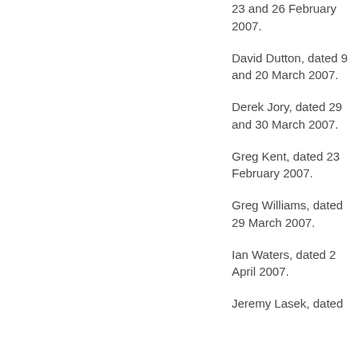23 and 26 February 2007.
David Dutton, dated 9 and 20 March 2007.
Derek Jory, dated 29 and 30 March 2007.
Greg Kent, dated 23 February 2007.
Greg Williams, dated 29 March 2007.
Ian Waters, dated 2 April 2007.
Jeremy Lasek, dated